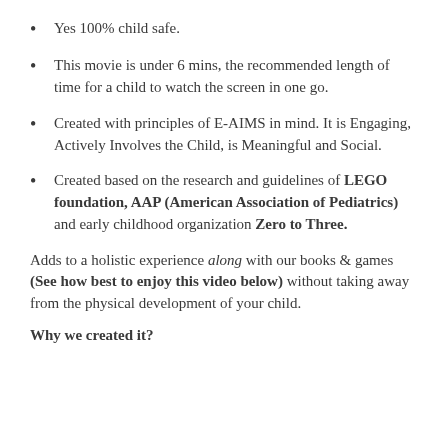Yes 100% child safe.
This movie is under 6 mins, the recommended length of time for a child to watch the screen in one go.
Created with principles of E-AIMS in mind. It is Engaging, Actively Involves the Child, is Meaningful and Social.
Created based on the research and guidelines of LEGO foundation, AAP (American Association of Pediatrics) and early childhood organization Zero to Three.
Adds to a holistic experience along with our books & games (See how best to enjoy this video below) without taking away from the physical development of your child.
Why we created it?